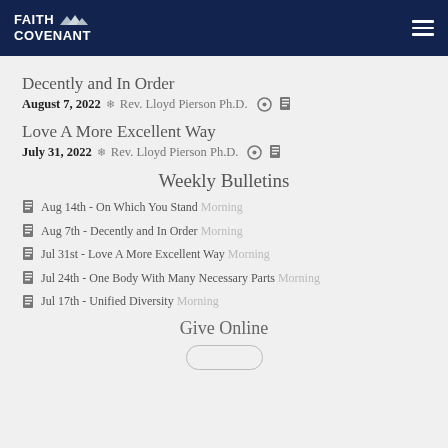FAITH COVENANT
Decently and In Order
August 7, 2022 ❄ Rev. Lloyd Pierson Ph.D.
Love A More Excellent Way
July 31, 2022 ❄ Rev. Lloyd Pierson Ph.D.
Weekly Bulletins
Aug 14th - On Which You Stand Morning
Aug 7th - Decently and In Order Morning
Jul 31st - Love A More Excellent Way Morning
Jul 24th - One Body With Many Necessary Parts Morning
Jul 17th - Unified Diversity Morning
Give Online